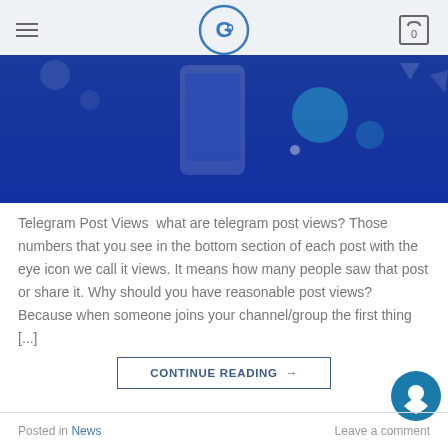GD logo, hamburger menu, cart with 0
[Figure (illustration): Blue hero banner with a smartphone graphic, bubbles, and blue gradient background]
Telegram Post Views  what are telegram post views? Those numbers that you see in the bottom section of each post with the eye icon we call it views. It means how many people saw that post or share it. Why should you have reasonable post views? Because when someone joins your channel/group the first thing [...]
CONTINUE READING →
Posted in News   Leave a comment